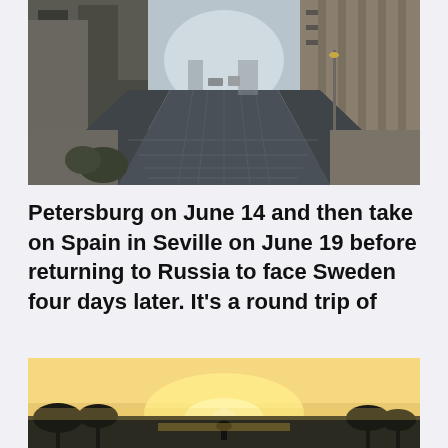[Figure (photo): Urban street scene with cobblestone road lined by tall buildings on both sides, perspective view down an empty city street]
Petersburg on June 14 and then take on Spain in Seville on June 19 before returning to Russia to face Sweden four days later. It's a round trip of
[Figure (photo): Sunset or sunrise landscape with warm golden light on the horizon and silhouette of trees and a person]